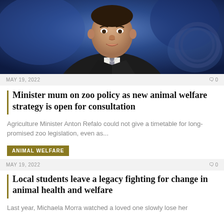[Figure (photo): Portrait photo of a man in a dark suit and grey tie against a blue background, shown from the shoulders up]
MAY 19, 2022    0
Minister mum on zoo policy as new animal welfare strategy is open for consultation
Agriculture Minister Anton Refalo could not give a timetable for long-promised zoo legislation, even as...
ANIMAL WELFARE
MAY 19, 2022    0
Local students leave a legacy fighting for change in animal health and welfare
Last year, Michaela Morra watched a loved one slowly lose her